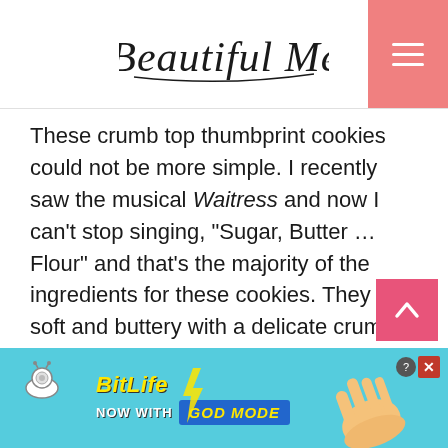A Beautiful Mess
These crumb top thumbprint cookies could not be more simple. I recently saw the musical Waitress and now I can't stop singing, "Sugar, Butter … Flour" and that's the majority of the ingredients for these cookies. They are soft and buttery with a delicate crumb top (optional, but do it!) and you can use any jam you love or have on hand.
[Figure (other): Advertisement banner for BitLife game featuring snail icon, yellow BitLife logo, 'NOW WITH GOD MODE' text, pointing hand graphic, and close/X buttons]